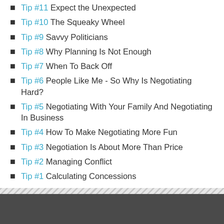Tip #11 Expect the Unexpected
Tip #10 The Squeaky Wheel
Tip #9 Savvy Politicians
Tip #8 Why Planning Is Not Enough
Tip #7 When To Back Off
Tip #6 People Like Me - So Why Is Negotiating Hard?
Tip #5 Negotiating With Your Family And Negotiating In Business
Tip #4 How To Make Negotiating More Fun
Tip #3 Negotiation Is About More Than Price
Tip #2 Managing Conflict
Tip #1 Calculating Concessions